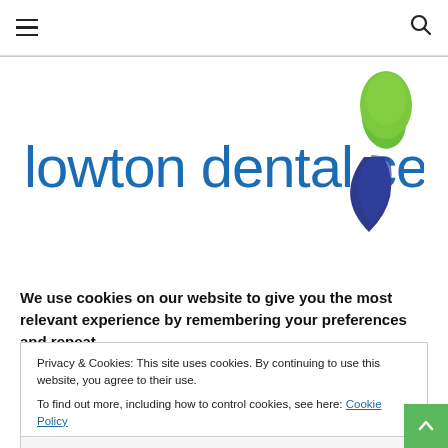[Figure (logo): Lowton Dental Centre logo with blue text and green/blue leaf/teardrop graphic]
We use cookies on our website to give you the most relevant experience by remembering your preferences and repeat
Privacy & Cookies: This site uses cookies. By continuing to use this website, you agree to their use.
To find out more, including how to control cookies, see here: Cookie Policy
Close and accept